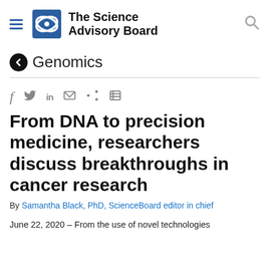The Science Advisory Board
Genomics
f  in  [social share icons]
From DNA to precision medicine, researchers discuss breakthroughs in cancer research
By Samantha Black, PhD, ScienceBoard editor in chief
June 22, 2020 – From the use of novel technologies